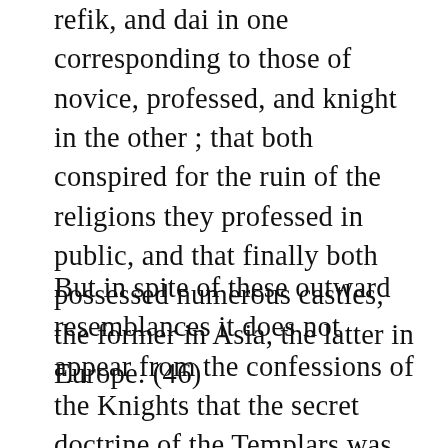refik, and dai in one corresponding to those of novice, professed, and knight in the other ; that both conspired for the ruin of the religions they professed in public, and that finally both possessed numerous castles, the former in Asia, the latter in Europe. (46)
But in spite of these outward resemblances it does not appear from the confessions of the Knights that the secret doctrine of the Templars was that of the Assassins or of any Ismaili sect by which, in accordance with